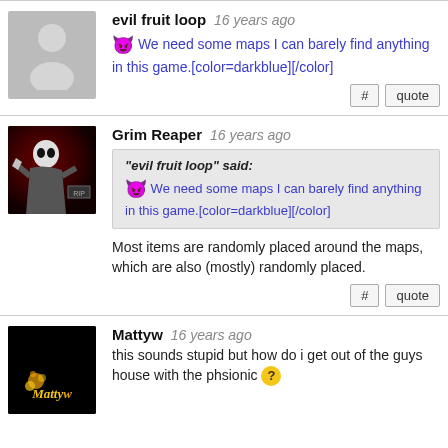evil fruit loop 16 years ago
😈 We need some maps I can barely find anything in this game.[color=darkblue][/color]
Grim Reaper 16 years ago
"evil fruit loop" said: 😈 We need some maps I can barely find anything in this game.[color=darkblue][/color]
Most items are randomly placed around the maps, which are also (mostly) randomly placed.
Mattyw 16 years ago
this sounds stupid but how do i get out of the guys house with the phsionic ?